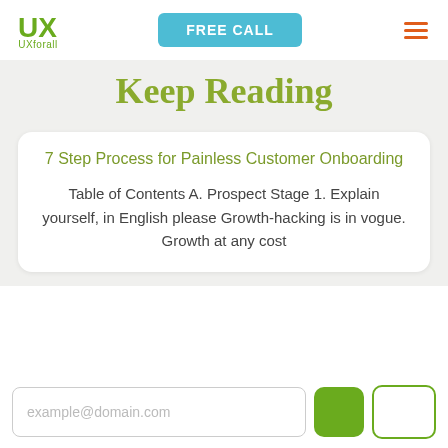[Figure (logo): UXforall logo with stylized UX letters in green and text 'UXforall' below]
FREE CALL
[Figure (other): Hamburger menu icon with three orange horizontal lines]
Keep Reading
7 Step Process for Painless Customer Onboarding
Table of Contents A. Prospect Stage 1. Explain yourself, in English please Growth-hacking is in vogue. Growth at any cost
example@domain.com